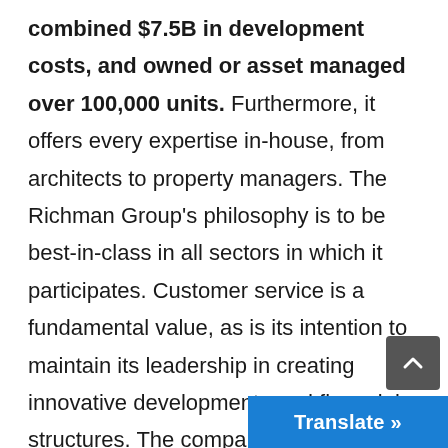combined $7.5B in development costs, and owned or asset managed over 100,000 units. Furthermore, it offers every expertise in-house, from architects to property managers. The Richman Group's philosophy is to be best-in-class in all sectors in which it participates. Customer service is a fundamental value, as is its intention to maintain its leadership in creating innovative developments and financial structures. The company is headquartered in Greenwich, Conn., and has 15 regional office